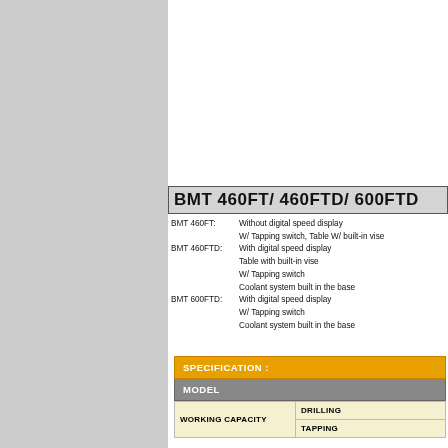BMT 460FT/ 460FTD/ 600FTD
BMT 460FT:  Without digital speed display
            W/ Tapping switch, Table W/ built-in vise
BMT 460FTD: With digital speed display
            Table with built-in vise
            W/ Tapping switch
            Coolant system built in the base
BMT 600FTD: With digital speed display
            W/ Tapping switch
            Coolant system built in the base
| SPECIFICATION : | MODEL | DRILLING | TAPPING |
| --- | --- | --- | --- |
| WORKING CAPACITY |  | DRILLING | TAPPING |